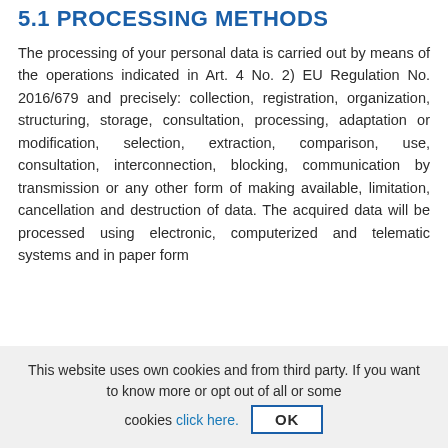5.1 PROCESSING METHODS
The processing of your personal data is carried out by means of the operations indicated in Art. 4 No. 2) EU Regulation No. 2016/679 and precisely: collection, registration, organization, structuring, storage, consultation, processing, adaptation or modification, selection, extraction, comparison, use, consultation, interconnection, blocking, communication by transmission or any other form of making available, limitation, cancellation and destruction of data. The acquired data will be processed using electronic, computerized and telematic systems and in paper form
This website uses own cookies and from third party. If you want to know more or opt out of all or some cookies click here. OK